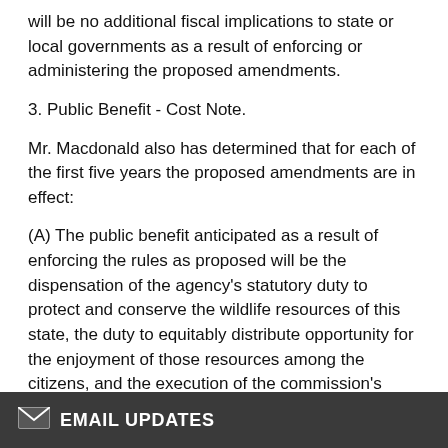will be no additional fiscal implications to state or local governments as a result of enforcing or administering the proposed amendments.
3. Public Benefit - Cost Note.
Mr. Macdonald also has determined that for each of the first five years the proposed amendments are in effect:
(A) The public benefit anticipated as a result of enforcing the rules as proposed will be the dispensation of the agency’s statutory duty to protect and conserve the wildlife resources of this state, the duty to equitably distribute opportunity for the enjoyment of those resources among the citizens, and the execution of the commission's policy to maximize recreational opportunity within the precepts of sound biological management practices.
(B) There will be no additional economic costs to small … or persons required to comply